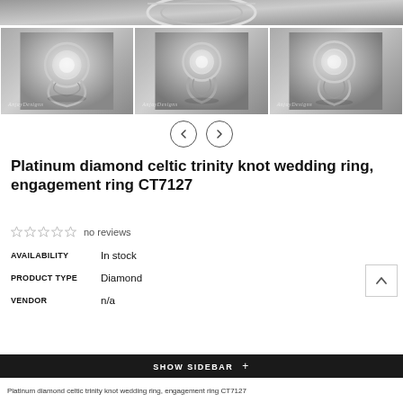[Figure (photo): Partial top view of a platinum diamond celtic trinity knot ring against a grey gradient background]
[Figure (photo): Three thumbnail views of a platinum diamond celtic trinity knot ring from different angles, each with an 'AnjayDesigns' watermark]
[Figure (other): Left and right navigation arrow buttons for image carousel]
Platinum diamond celtic trinity knot wedding ring, engagement ring CT7127
☆☆☆☆☆  no reviews
| Field | Value |
| --- | --- |
| AVAILABILITY | In stock |
| PRODUCT TYPE | Diamond |
| VENDOR | n/a |
SHOW SIDEBAR +
Platinum diamond celtic trinity knot wedding ring, engagement ring CT7127